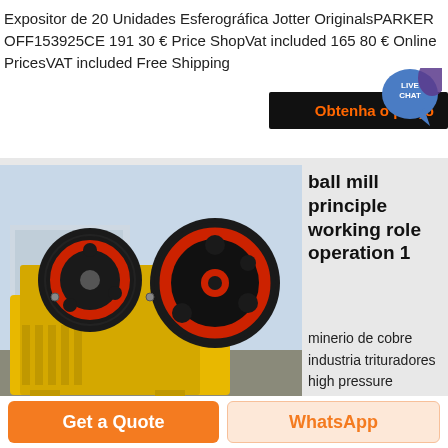Expositor de 20 Unidades Esferográfica Jotter OriginalsPARKER OFF153925CE 191 30 € Price ShopVat included 165 80 € Online PricesVAT included Free Shipping
[Figure (screenshot): Live chat bubble and 'Obtenha o preço' button overlay]
[Figure (photo): Yellow and black industrial jaw crusher / ball mill machine photographed outdoors]
ball mill principle working role operation 1
minerio de cobre industria trituradores high pressure
Get a Quote
WhatsApp